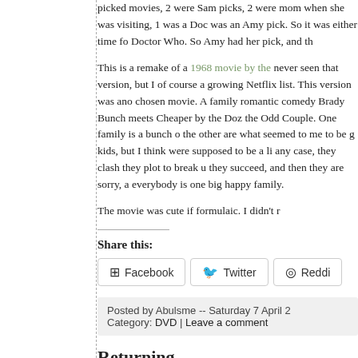picked movies, 2 were Sam picks, 2 were mom when she was visiting, 1 was a Doc was an Amy pick. So it was either time fo Doctor Who. So Amy had her pick, and th
This is a remake of a 1968 movie by the never seen that version, but I of course a growing Netflix list. This version was ano chosen movie. A family romantic comedy Brady Bunch meets Cheaper by the Doz the Odd Couple. One family is a bunch o the other are what seemed to me to be g kids, but I think were supposed to be a li any case, they clash they plot to break u they succeed, and then they are sorry, a everybody is one big happy family.
The movie was cute if formulaic. I didn't r
Share this:
Facebook  Twitter  Reddit
Posted by Abulsme -- Saturday 7 April 2 Category: DVD | Leave a comment
Returning